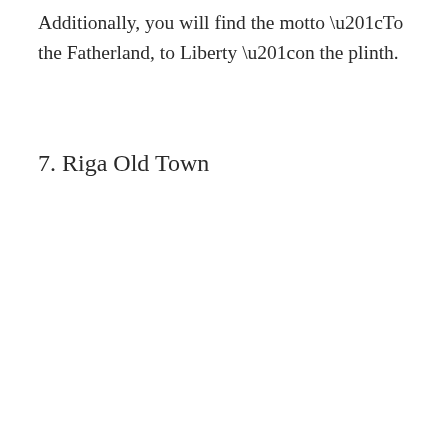Additionally, you will find the motto “To the Fatherland, to Liberty “on the plinth.
7. Riga Old Town